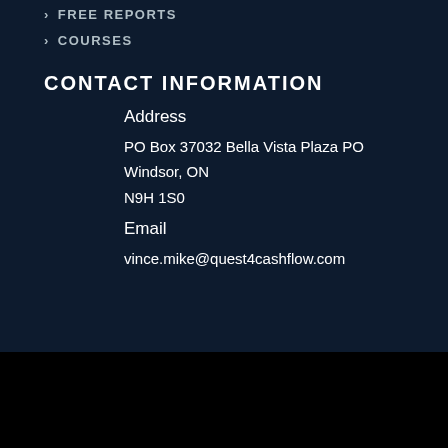FREE REPORTS
COURSES
CONTACT INFORMATION
Address
PO Box 37032 Bella Vista Plaza PO
Windsor, ON
N9H 1S0
Email
vince.mike@quest4cashflow.com
CopytRight@Quest4Cashflow